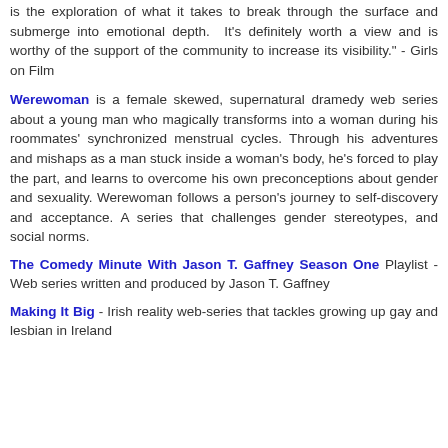is the exploration of what it takes to break through the surface and submerge into emotional depth.  It's definitely worth a view and is worthy of the support of the community to increase its visibility." - Girls on Film
Werewoman is a female skewed, supernatural dramedy web series about a young man who magically transforms into a woman during his roommates' synchronized menstrual cycles. Through his adventures and mishaps as a man stuck inside a woman's body, he's forced to play the part, and learns to overcome his own preconceptions about gender and sexuality. Werewoman follows a person's journey to self-discovery and acceptance. A series that challenges gender stereotypes, and social norms.
The Comedy Minute With Jason T. Gaffney Season One Playlist - Web series written and produced by Jason T. Gaffney
Making It Big - Irish reality web-series that tackles growing up gay and lesbian in Ireland